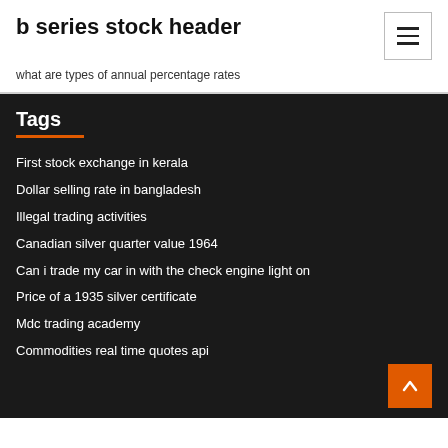b series stock header
what are types of annual percentage rates
Tags
First stock exchange in kerala
Dollar selling rate in bangladesh
Illegal trading activities
Canadian silver quarter value 1964
Can i trade my car in with the check engine light on
Price of a 1935 silver certificate
Mdc trading academy
Commodities real time quotes api